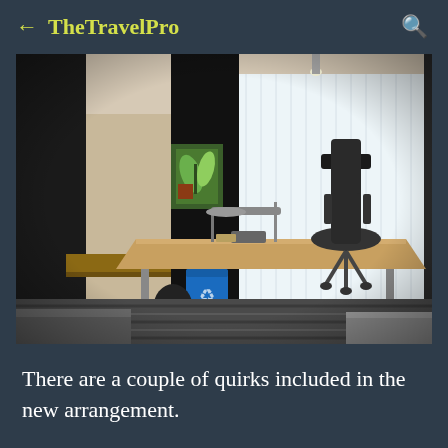TheTravelPro
[Figure (photo): Hotel room interior showing a wooden desk with a task lamp, computer accessories, and a notebook on top. A blue recycling bin sits beside the desk. Behind is a window with sheer white curtains, black drapes, and a dark office chair. A colorful abstract painting hangs on the wall. Striped carpet and a bed visible in the foreground.]
There are a couple of quirks included in the new arrangement.